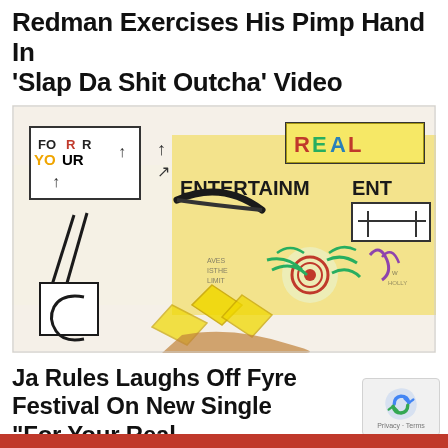Redman Exercises His Pimp Hand In ‘Slap Da Shit Outcha’ Video
[Figure (illustration): Colorful hand-drawn illustration on white paper featuring text 'FOR YOUR REAL ENTERTAINMENT' in mixed colors with arrows and abstract doodles including flowers, shapes and scribbles on yellow background]
Ja Rules Laughs Off Fyre Festival On New Single "For Your Real Entertainment"